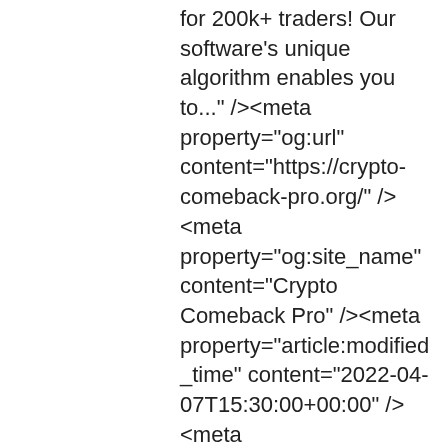for 200k+ traders! Our software&#039;s unique algorithm enables you to..." /><meta property="og:url" content="https://crypto-comeback-pro.org/" /><meta property="og:site_name" content="Crypto Comeback Pro" /><meta property="article:modified_time" content="2022-04-07T15:30:00+00:00" /> <meta property="og:image" content="https://crypto-comeback-pro.org/wp-content/uploads/2021/09/crypto-come-back-pro-logo.jpg" /><meta property="og:image:width" content="460" /> <meta property="og:image:height" content="230" /><meta name="twitter:card" content="summary_large_image" /><meta name="twitter:label1" content="Est. reading time" /><meta name="twitter:data1" content="19 minutes" /> <script type="application/ld+json" class="yoast-schema-graph">{"@context":"https://schema.org","@graph":[{"@type":"WebSite","@id":"http://localhost/temp/#webs Comeback Pro","description":"","potentialAction":